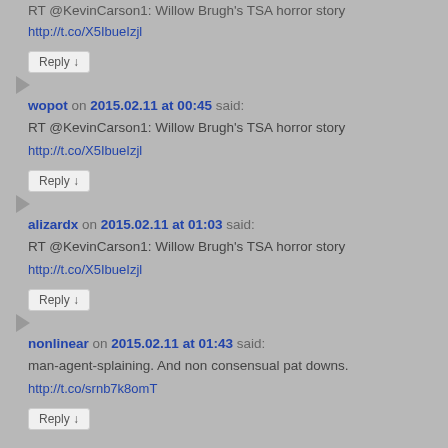RT @KevinCarson1: Willow Brugh's TSA horror story http://t.co/X5IbueIzjl
Reply ↓
wopot on 2015.02.11 at 00:45 said:
RT @KevinCarson1: Willow Brugh's TSA horror story http://t.co/X5IbueIzjl
Reply ↓
alizardx on 2015.02.11 at 01:03 said:
RT @KevinCarson1: Willow Brugh's TSA horror story http://t.co/X5IbueIzjl
Reply ↓
nonlinear on 2015.02.11 at 01:43 said:
man-agent-splaining. And non consensual pat downs. http://t.co/srnb7k8omT
Reply ↓